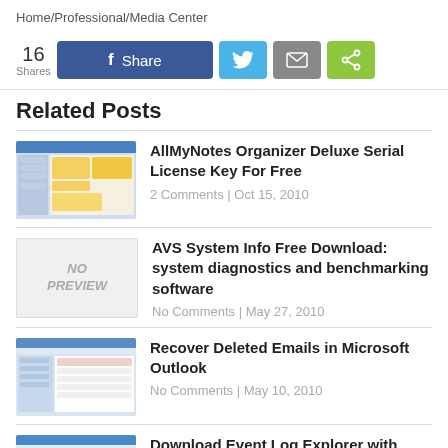Home/Professional/Media Center
[Figure (infographic): Social share bar: 16 Shares, Facebook Share button (blue), Twitter button (light blue), Email button (gray), Share button (green)]
Related Posts
[Figure (screenshot): Thumbnail screenshot of AllMyNotes Organizer application]
AllMyNotes Organizer Deluxe Serial License Key For Free
2 Comments | Oct 15, 2010
[Figure (other): No Preview placeholder image]
AVS System Info Free Download: system diagnostics and benchmarking software
No Comments | May 27, 2010
[Figure (screenshot): Thumbnail screenshot of Microsoft Outlook deleted emails]
Recover Deleted Emails in Microsoft Outlook
No Comments | May 10, 2010
[Figure (screenshot): Thumbnail screenshot of Event Log Explorer application]
Download Event Log Explorer with Free Serial License Key
No Comments | Nov 2, 2010